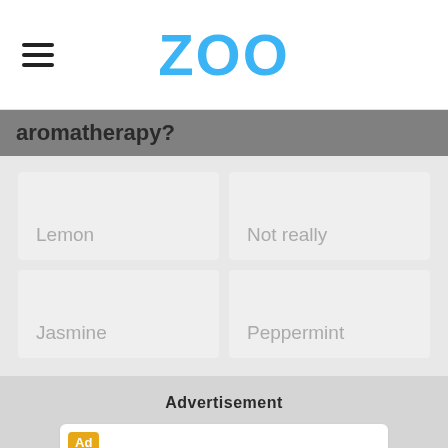ZOO
aromatherapy?
Lemon
Not really
Jasmine
Peppermint
Advertisement
[Figure (other): Advertisement box with Ad badge]